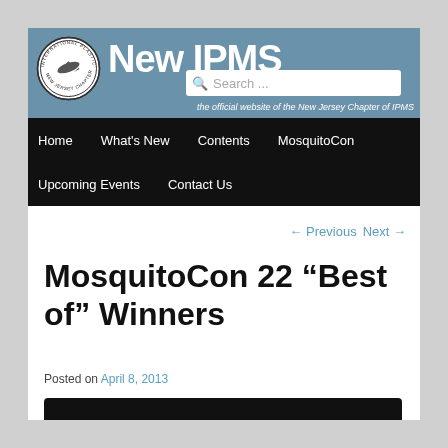[Figure (logo): Circular IPMS chapter logo with plane illustration and text around the border]
New Jersey IPMS — the official website of the New Jersey Chapter of IPMS
Home   What's New   Contents   MosquitoCon   Upcoming Events   Contact Us
← Previous   Next →
MosquitoCon 22 "Best of" Winners
Posted on April 8, 2013
[Figure (photo): Dark/black image at the bottom of the content area, partially visible]